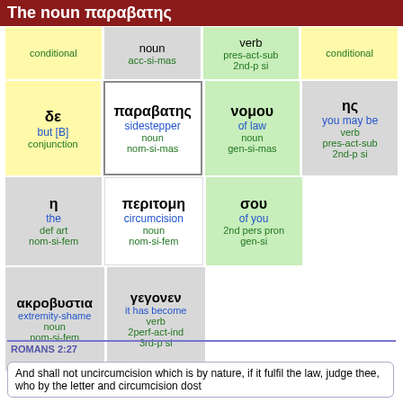The noun παραβατης
| conditional | noun acc-si-mas | verb pres-act-sub 2nd-p si | conditional |
| δε but [B] conjunction | παραβατης sidestepper noun nom-si-mas | νομου of law noun gen-si-mas | ης you may be verb pres-act-sub 2nd-p si |
| η the def art nom-si-fem | περιτομη circumcision noun nom-si-fem | σου of you 2nd pers pron gen-si |  |
| ακροβυστια extremity-shame noun nom-si-fem | γεγονεν it has become verb 2perf-act-ind 3rd-p si |  |  |
ROMANS 2:27
And shall not uncircumcision which is by nature, if it fulfil the law, judge thee, who by the letter and circumcision dost